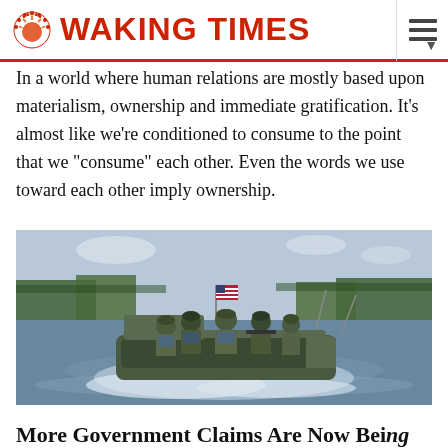WAKING TIMES
In a world where human relations are mostly based upon materialism, ownership and immediate gratification. It’s almost like we’re conditioned to consume to the point that we “consume” each other. Even the words we use toward each other imply ownership.
[Figure (photo): Military personnel in camouflage gear riding on a fast-moving boat through a waterway with trees in the background. An American flag is visible on the boat.]
More Government Claims Are Now Being